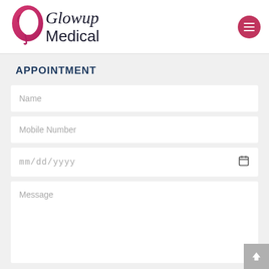[Figure (logo): Glowup Medical logo with stylized face silhouette in pink/magenta gradient and text 'Glowup Medical' in serif/sans-serif]
[Figure (other): Hamburger menu button - pink/crimson circle with three white horizontal lines]
APPOINTMENT
Name
Mobile Number
mm/dd/yyyy
Message